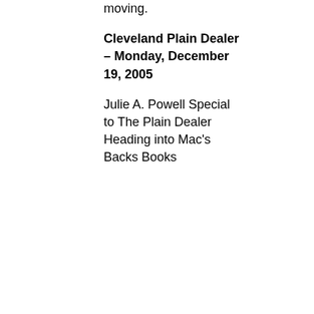moving.
Cleveland Plain Dealer – Monday, December 19, 2005
Julie A. Powell Special to The Plain Dealer Heading into Mac's Backs Books